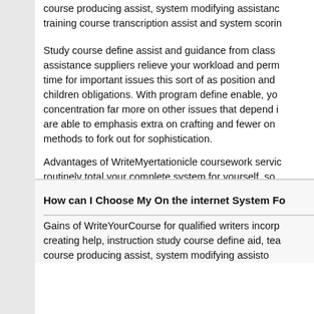course producing assist, system modifying assistance, training course transcription assist and system scoring
Study course define assist and guidance from class assistance suppliers relieve your workload and perm time for important issues this sort of as position and children obligations. With program define enable, you concentration far more on other issues that depend i are able to emphasis extra on crafting and fewer on methods to fork out for sophistication.
Advantages of WriteMyertationicle coursework servic routinely total your complete system for yourself, so time and cash. You can expect to get high-quality, au essays which has a 100% promise. For anyone who
How can I Choose My On the internet System Fo
Gains of WriteYourCourse for qualified writers incorp creating help, instruction study course define aid, tea course producing assist, system modifying assisto